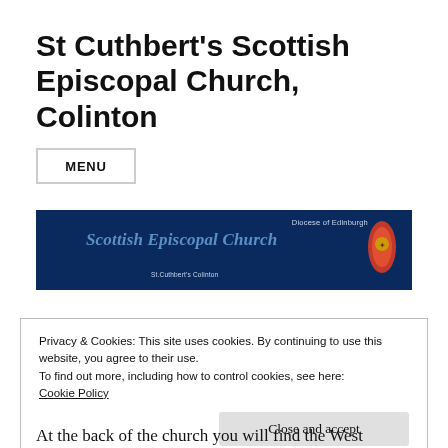St Cuthbert's Scottish Episcopal Church, Colinton
MENU
[Figure (logo): Scottish Episcopal Church banner with navy blue background, Diocese of Edinburgh text, italic 'Scottish Episcopal Church' text in blue, St. Cuthbert's Colinton subtitle, and a red/gold Episcopal Church emblem on the right.]
Privacy & Cookies: This site uses cookies. By continuing to use this website, you agree to their use.
To find out more, including how to control cookies, see here:
Cookie Policy
Close and accept
At the back of the church you will find the West